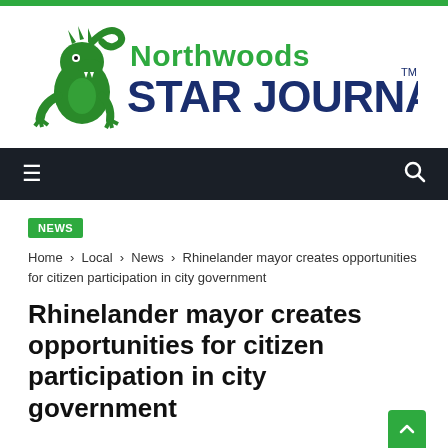[Figure (logo): Northwoods Star Journal newspaper logo with green dragon mascot on the left, green text 'Northwoods' above dark blue bold text 'STAR JOURNAL' with TM mark]
NEWS
Home › Local › News › Rhinelander mayor creates opportunities for citizen participation in city government
Rhinelander mayor creates opportunities for citizen participation in city government